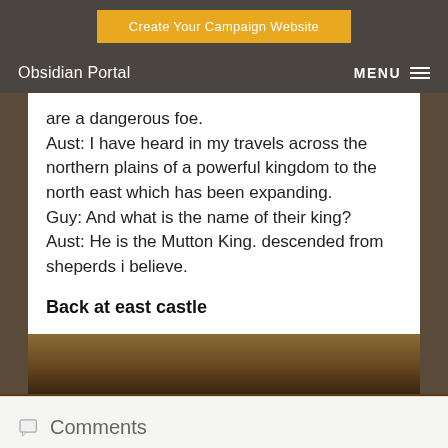Create Your Campaign Website
Obsidian Portal   MENU
are a dangerous foe.
Aust: I have heard in my travels across the northern plains of a powerful kingdom to the north east which has been expanding.
Guy: And what is the name of their king?
Aust: He is the Mutton King. descended from sheperds i believe.
Back at east castle
Comments